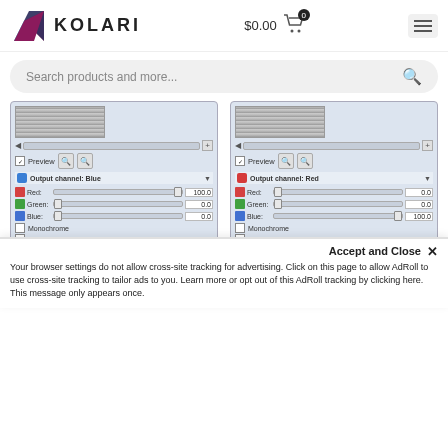KOLARI — $0.00 cart
[Figure (screenshot): Search bar with placeholder text 'Search products and more...' and a magnifying glass icon on a light grey rounded background]
[Figure (screenshot): Two Photoshop Channel Mixer dialog boxes side by side. Left: Output channel Blue, Red=100.0, Green=0.0, Blue=0.0. Right: Output channel Red, Red=0.0, Green=0.0, Blue=100.0. Both show Preview checkbox, Open/Save/Reset buttons, Help/OK/Cancel buttons.]
Your image should come out somethi...
Accept and Close ×
Your browser settings do not allow cross-site tracking for advertising. Click on this page to allow AdRoll to use cross-site tracking to tailor ads to you. Learn more or opt out of this AdRoll tracking by clicking here. This message only appears once.